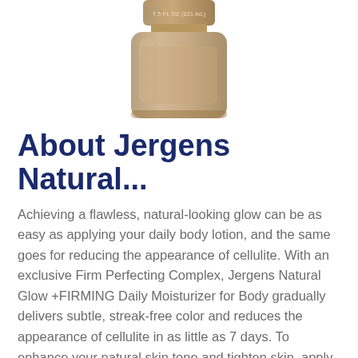[Figure (photo): Bottom portion of a Jergens Natural Glow body lotion bottle in tan/beige color, showing '7.5 FL OZ (221 mL)' text on the cap area]
About Jergens Natural...
Achieving a flawless, natural-looking glow can be as easy as applying your daily body lotion, and the same goes for reducing the appearance of cellulite. With an exclusive Firm Perfecting Complex, Jergens Natural Glow +FIRMING Daily Moisturizer for Body gradually delivers subtle, streak-free color and reduces the appearance of cellulite in as little as 7 days. To enhance your natural skin tone and tighten skin, apply in place of your regular body moisturizer at least once a day and in about one week, you'll have beautiful, natural-looking color. Jergens Natural